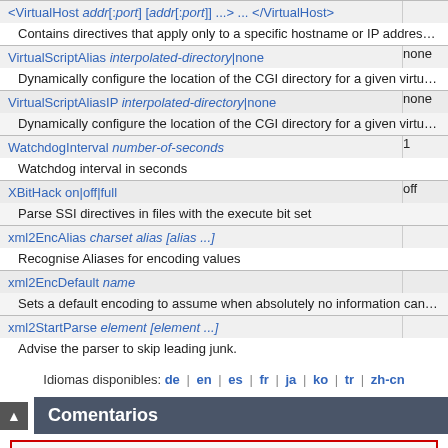| Directive | Default |
| --- | --- |
| <VirtualHost addr[:port] [addr[:port]] ...> ... </VirtualHost> |  |
| Contains directives that apply only to a specific hostname or IP address |  |
| VirtualScriptAlias interpolated-directory|none | none |
| Dynamically configure the location of the CGI directory for a given virtual host |  |
| VirtualScriptAliasIP interpolated-directory|none | none |
| Dynamically configure the location of the CGI directory for a given virtual host |  |
| WatchdogInterval number-of-seconds | 1 |
| Watchdog interval in seconds |  |
| XBitHack on|off|full | off |
| Parse SSI directives in files with the execute bit set |  |
| xml2EncAlias charset alias [alias ...] |  |
| Recognise Aliases for encoding values |  |
| xml2EncDefault name |  |
| Sets a default encoding to assume when absolutely no information can |  |
| xml2StartParse element [element ...] |  |
| Advise the parser to skip leading junk. |  |
Idiomas disponibles: de | en | es | fr | ja | ko | tr | zh-cn
Comentarios
Notice: This is not a Q&A section. Comments placed here should be pointed towards suggestions on